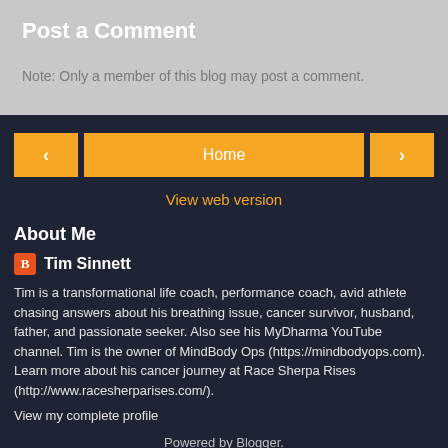Post a Comment
Note: Only a member of this blog may post a comment.
‹
Home
›
View web version
About Me
Tim Sinnett
Tim is a transformational life coach, performance coach, avid athlete chasing answers about his breathing issue, cancer survivor, husband, father, and passionate seeker. Also see his MyDharma YouTube channel. Tim is the owner of MindBody Ops (https://mindbodyops.com). Learn more about his cancer journey at Race Sherpa Rises (http://www.racesherparises.com/).
View my complete profile
Powered by Blogger.